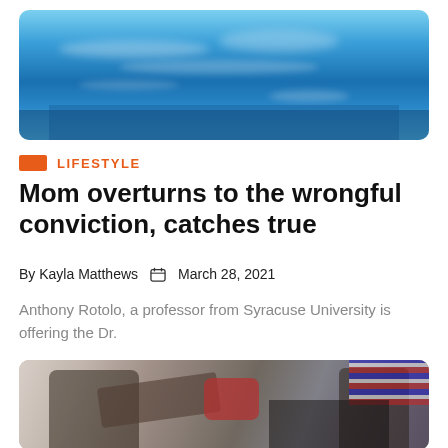[Figure (photo): Top portion of a photo showing a blue swimming pool with sunlight reflections on the water surface]
LIFESTYLE
Mom overturns to the wrongful conviction, catches true
By Kayla Matthews   📅  March 28, 2021
Anthony Rotolo, a professor from Syracuse University is offering the Dr.
[Figure (photo): Photo showing people in a boxing gym, with a man punching toward the camera wearing boxing gloves, other people visible in background]